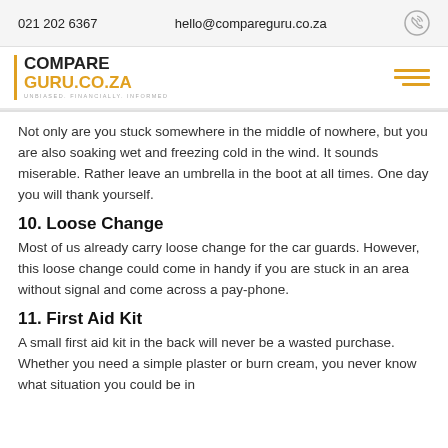021 202 6367   hello@compareguru.co.za
COMPARE GURU.CO.ZA — UNBIASED. FINANCIALLY. INFORMED
Not only are you stuck somewhere in the middle of nowhere, but you are also soaking wet and freezing cold in the wind. It sounds miserable. Rather leave an umbrella in the boot at all times. One day you will thank yourself.
10. Loose Change
Most of us already carry loose change for the car guards. However, this loose change could come in handy if you are stuck in an area without signal and come across a pay-phone.
11. First Aid Kit
A small first aid kit in the back will never be a wasted purchase. Whether you need a simple plaster or burn cream, you never know what situation you could be in